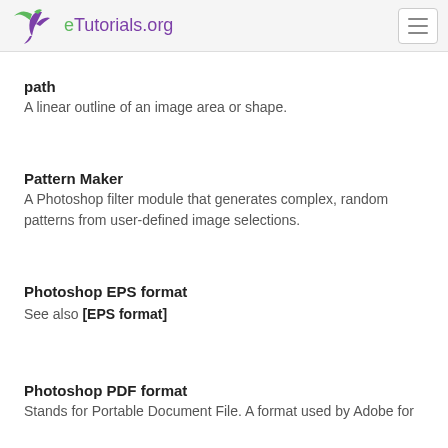eTutorials.org
path
A linear outline of an image area or shape.
Pattern Maker
A Photoshop filter module that generates complex, random patterns from user-defined image selections.
Photoshop EPS format
See also [EPS format]
Photoshop PDF format
Stands for Portable Document File. A format used by Adobe for